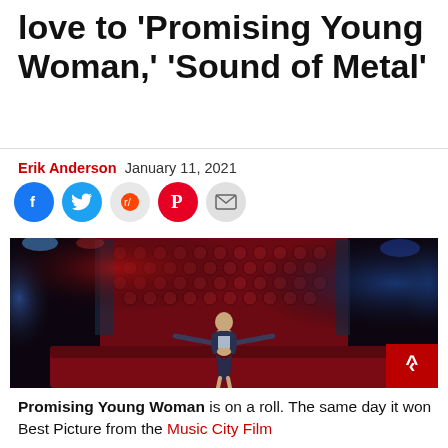love to 'Promising Young Woman,' 'Sound of Metal'
Erik Anderson  January 11, 2021
[Figure (photo): A woman sits with arms outstretched on a red leather booth in a dark nightclub with tufted red walls and blue lighting in the background]
Promising Young Woman is on a roll. The same day it won Best Picture from the Music City Film